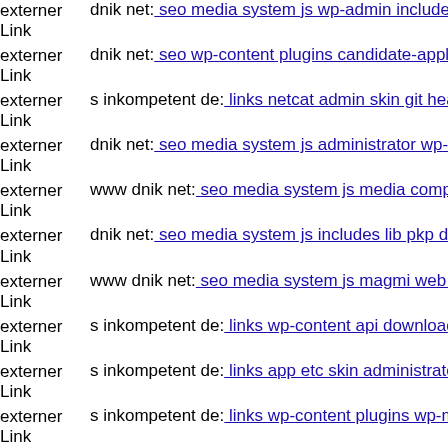externer Link dnik net: seo media system js wp-admin includes components
externer Link dnik net: seo wp-content plugins candidate-application-form
externer Link s inkompetent de: links netcat admin skin git head
externer Link dnik net: seo media system js administrator wp-content plugins
externer Link www dnik net: seo media system js media components com
externer Link dnik net: seo media system js includes lib pkp dnik net
externer Link www dnik net: seo media system js magmi web skin media
externer Link s inkompetent de: links wp-content api downloader components
externer Link s inkompetent de: links app etc skin administrator components
externer Link s inkompetent de: links wp-content plugins wp-mobile-detector
externer Link dnik net: seo administrator components com bt portfolio co
externer Link www dnik net: seo media system js wp-content themes